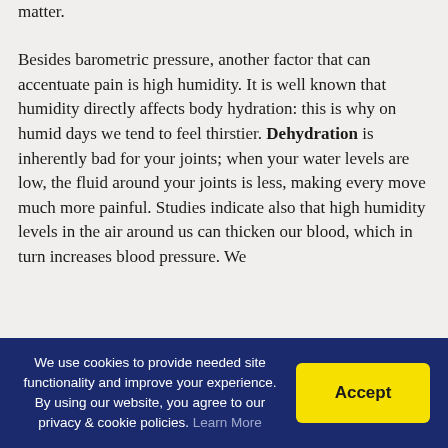matter.
Besides barometric pressure, another factor that can accentuate pain is high humidity. It is well known that humidity directly affects body hydration: this is why on humid days we tend to feel thirstier. Dehydration is inherently bad for your joints; when your water levels are low, the fluid around your joints is less, making every move much more painful. Studies indicate also that high humidity levels in the air around us can thicken our blood, which in turn increases blood pressure. We
We use cookies to provide needed site functionality and improve your experience. By using our website, you agree to our privacy & cookie policies. Learn More